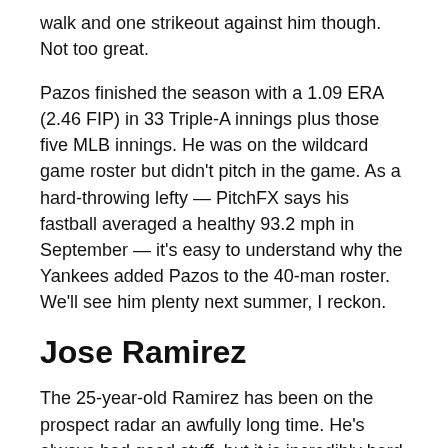walk and one strikeout against him though. Not too great.
Pazos finished the season with a 1.09 ERA (2.46 FIP) in 33 Triple-A innings plus those five MLB innings. He was on the wildcard game roster but didn't pitch in the game. As a hard-throwing lefty — PitchFX says his fastball averaged a healthy 93.2 mph in September — it's easy to understand why the Yankees added Pazos to the 40-man roster. We'll see him plenty next summer, I reckon.
Jose Ramirez
The 25-year-old Ramirez has been on the prospect radar an awfully long time. He's always had good stuff, but it is incredibly hard to...